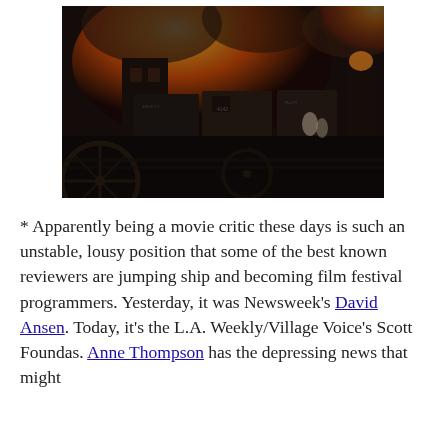[Figure (photo): A dramatic film still showing a railroad yard with train cars and wagons in the foreground, engulfed in massive fire and smoke in the background. The image has a tinted, classic cinematic look with dark foreground and orange-red flames.]
* Apparently being a movie critic these days is such an unstable, lousy position that some of the best known reviewers are jumping ship and becoming film festival programmers. Yesterday, it was Newsweek's David Ansen. Today, it's the L.A. Weekly/Village Voice's Scott Foundas. Anne Thompson has the depressing news that might...